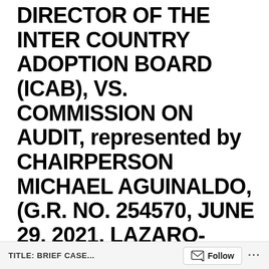DIRECTOR OF THE INTER COUNTRY ADOPTION BOARD (ICAB), VS. COMMISSION ON AUDIT, represented by CHAIRPERSON MICHAEL AGUINALDO, (G.R. NO. 254570, JUNE 29, 2021, LAZARO-JAVIER, J.) (SUBJECT/S: GOOD FAITH EXCUSES LIABILITY IN ADMIN CASE; COA NOTICE OF DISALLOWANCE) (BRIEF
TITLE: BRIEF CASE...